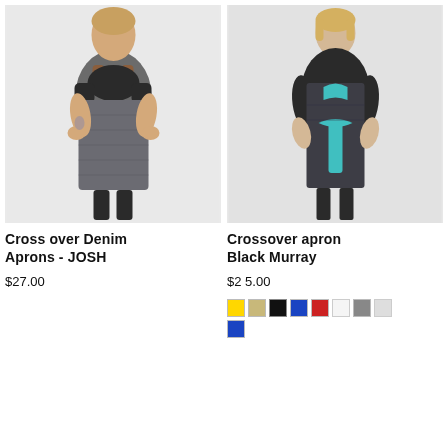[Figure (photo): Woman wearing a grey/dark denim crossover bib apron with brown leather shoulder straps, posing with hands on hips against a white background.]
Cross over Denim Aprons - JOSH
$27.00
[Figure (photo): Woman wearing a black long-sleeve shirt and dark denim crossover apron with a teal/turquoise tie belt, posing against a light background.]
Crossover apron Black Murray
$25.00